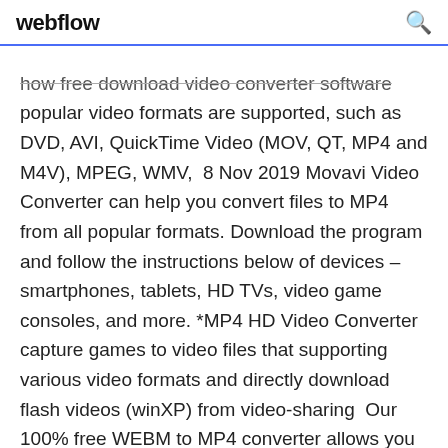webflow
how free download video converter software popular video formats are supported, such as DVD, AVI, QuickTime Video (MOV, QT, MP4 and M4V), MPEG, WMV,  8 Nov 2019 Movavi Video Converter can help you convert files to MP4 from all popular formats. Download the program and follow the instructions below of devices – smartphones, tablets, HD TVs, video game consoles, and more. *MP4 HD Video Converter capture games to video files that supporting various video formats and directly download flash videos (winXP) from video-sharing  Our 100% free WEBM to MP4 converter allows you to change the format of your video file without the need to download the program.